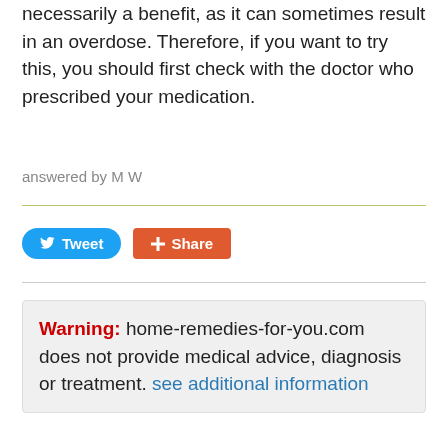necessarily a benefit, as it can sometimes result in an overdose. Therefore, if you want to try this, you should first check with the doctor who prescribed your medication.
answered by M W
Warning: home-remedies-for-you.com does not provide medical advice, diagnosis or treatment. see additional information